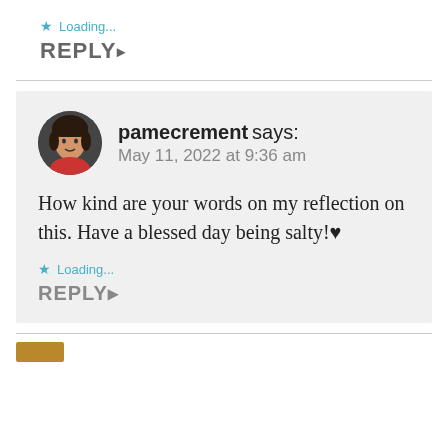★ Loading...
REPLY ▶
pamecrement says: May 11, 2022 at 9:36 am
How kind are your words on my reflection on this. Have a blessed day being salty!♥
★ Loading...
REPLY ▶